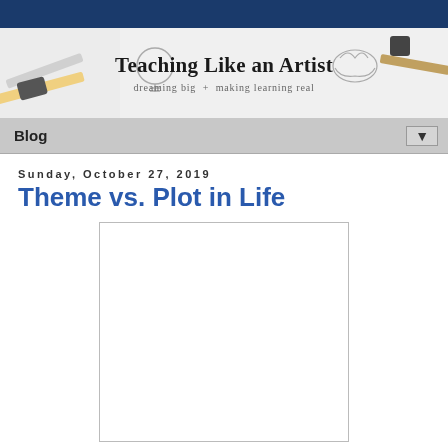[Figure (illustration): Blog website header banner for 'Teaching Like an Artist' with tagline 'dreaming big + making learning real'. Shows school supplies like pencils, eraser, pencil sharpener, and a lightbulb sketch illustration on a white background with a dark blue top strip.]
Blog ▼
Sunday, October 27, 2019
Theme vs. Plot in Life
[Figure (photo): Blank/empty white image box (content not visible in page crop)]